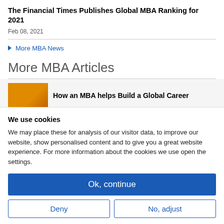The Financial Times Publishes Global MBA Ranking for 2021
Feb 08, 2021
▶ More MBA News
More MBA Articles
How an MBA helps Build a Global Career
We use cookies
We may place these for analysis of our visitor data, to improve our website, show personalised content and to give you a great website experience. For more information about the cookies we use open the settings.
Ok, continue
Deny
No, adjust